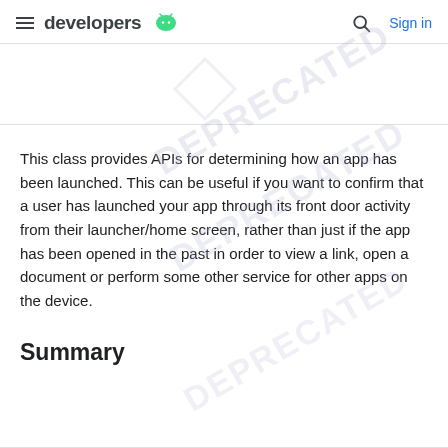developers [Android logo] | Sign in
This class provides APIs for determining how an app has been launched. This can be useful if you want to confirm that a user has launched your app through its front door activity from their launcher/home screen, rather than just if the app has been opened in the past in order to view a link, open a document or perform some other service for other apps on the device.
Summary